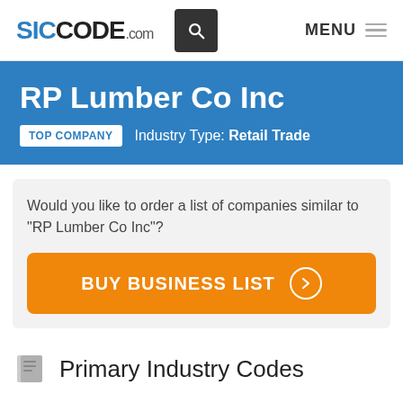SICCODE.com
RP Lumber Co Inc
TOP COMPANY   Industry Type: Retail Trade
Would you like to order a list of companies similar to "RP Lumber Co Inc"?
BUY BUSINESS LIST
Primary Industry Codes